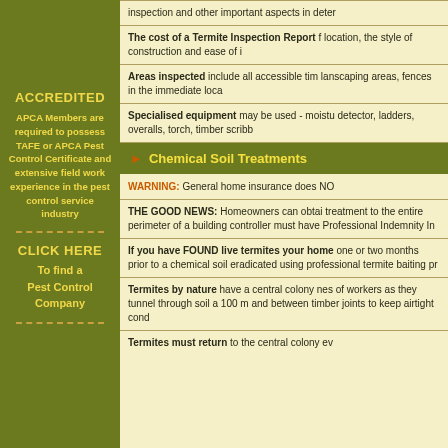inspection and other important aspects in determining...
The cost of a Termite Inspection Report for location, the style of construction and ease of i...
Areas inspected include all accessible tim lanscaping areas, fences in the immediate loca...
Specialised equipment may be used - moisture detector, ladders, overalls, torch, timber scribb...
► Chemical Soil Treatments
WARNING: General home insurance does NO...
THE GOOD NEWS: Homeowners can obtain treatment to the entire perimeter of a building controller must have Professional Indemnity In...
If you have FOUND live termites your home one or two months prior to a chemical soil eradicated using professional termite baiting pr...
Termites by nature have a central colony nes of workers as they tunnel through soil a 100 m and between timber joints to keep airtight cond...
Termites must return to the central colony ev...
ACCREDITED
APCA Members are required to possess TAFE or APCA Pest Control Certificate and extensive field work experience in the pest control service industry
CLICK HERE To find a Pest Control Company